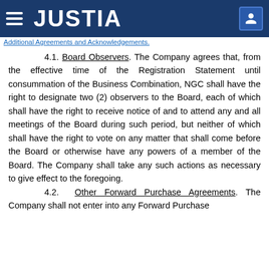JUSTIA
Additional Agreements and Acknowledgements.
4.1. Board Observers. The Company agrees that, from the effective time of the Registration Statement until consummation of the Business Combination, NGC shall have the right to designate two (2) observers to the Board, each of which shall have the right to receive notice of and to attend any and all meetings of the Board during such period, but neither of which shall have the right to vote on any matter that shall come before the Board or otherwise have any powers of a member of the Board. The Company shall take any such actions as necessary to give effect to the foregoing.
4.2. Other Forward Purchase Agreements. The Company shall not enter into any Forward Purchase